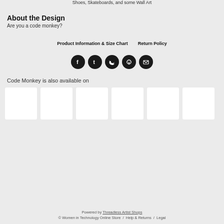Shoes, Skateboards, and some Wall Art
About the Design
Are you a code monkey?
Product Information & Size Chart   Return Policy
[Figure (infographic): Five social media share icons (Facebook, Tumblr, Twitter, Pinterest, Email) as dark circular buttons]
Code Monkey is also available on
[Figure (infographic): Six white product thumbnail boxes showing available products]
Powered by Threadless Artist Shops © Women in Technology Online Store / Help & Returns / Legal